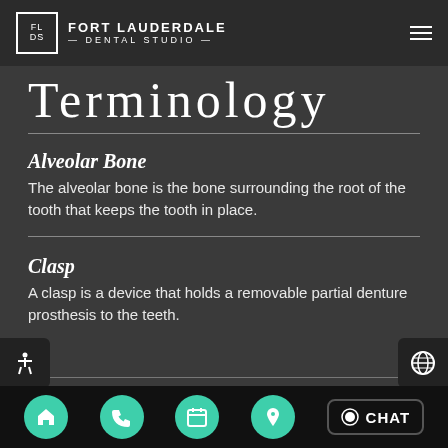FORT LAUDERDALE DENTAL STUDIO
TERMINOLOGY
Alveolar Bone
The alveolar bone is the bone surrounding the root of the tooth that keeps the tooth in place.
Clasp
A clasp is a device that holds a removable partial denture prosthesis to the teeth.
Navigation bar with home, phone, calendar, location, and chat buttons